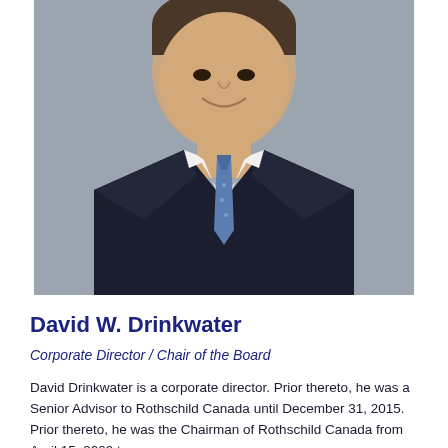[Figure (photo): Professional headshot of David W. Drinkwater, a middle-aged man in a dark suit with a blue patterned tie and white shirt, smiling, against a gray background.]
David W. Drinkwater
Corporate Director / Chair of the Board
David Drinkwater is a corporate director. Prior thereto, he was a Senior Advisor to Rothschild Canada until December 31, 2015. Prior thereto, he was the Chairman of Rothschild Canada from April 15, 2009 to